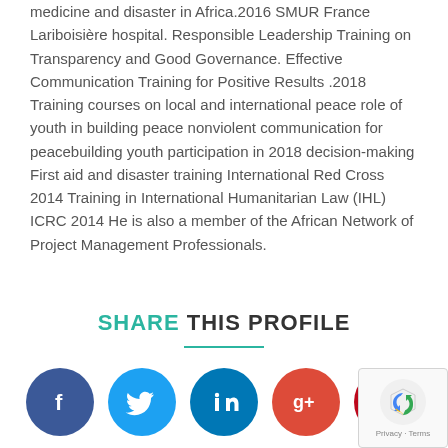medicine and disaster in Africa.2016 SMUR France Lariboisière hospital. Responsible Leadership Training on Transparency and Good Governance. Effective Communication Training for Positive Results .2018 Training courses on local and international peace role of youth in building peace nonviolent communication for peacebuilding youth participation in 2018 decision-making First aid and disaster training International Red Cross 2014 Training in International Humanitarian Law (IHL) ICRC 2014 He is also a member of the African Network of Project Management Professionals.
SHARE THIS PROFILE
[Figure (infographic): Social media sharing icons: Facebook (dark blue), Twitter (light blue), LinkedIn (blue), Google+ (orange-red), Pinterest (dark red) arranged horizontally]
[Figure (other): reCAPTCHA badge in bottom right corner showing Google reCAPTCHA logo and Privacy - Terms text]